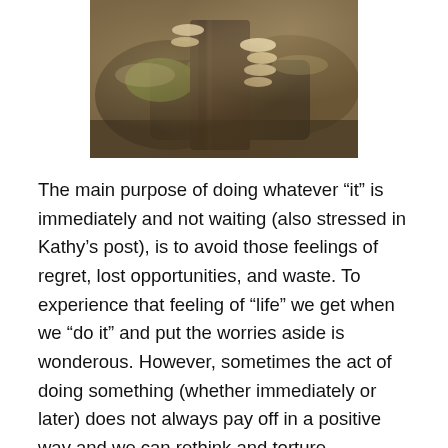[Figure (photo): Photograph of mossy rocks and logs with bracket fungi/mushrooms growing on them in a natural outdoor setting.]
The main purpose of doing whatever “it” is immediately and not waiting (also stressed in Kathy’s post), is to avoid those feelings of regret, lost opportunities, and waste. To experience that feeling of “life” we get when we “do it” and put the worries aside is wonderous. However, sometimes the act of doing something (whether immediately or later) does not always pay off in a positive way and we can rethink and torture ourselves with our “do it immediately” actions just as much as the ones we thought about extensively. It all comes down to making decisions, acting on them (with varying speeds), and learning to live with the consequences good or bad of the choices and actions